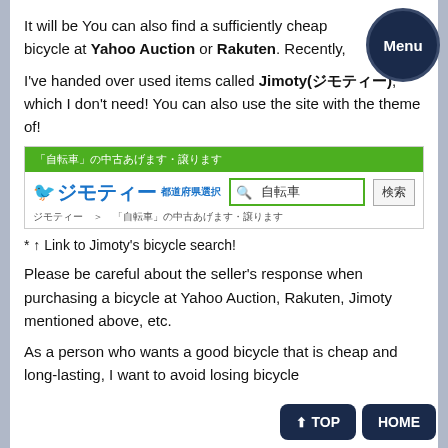It will be You can also find a sufficiently cheap bicycle at Yahoo Auction or Rakuten. Recently,
I've handed over used items called Jimoty(ジモティー), which I don't need! You can also use the site with the theme of!
[Figure (screenshot): Screenshot of Jimoty (ジモティー) website showing a search for 自転車 (bicycle) with a green header bar and search interface]
* ↑ Link to Jimoty's bicycle search!
Please be careful about the seller's response when purchasing a bicycle at Yahoo Auction, Rakuten, Jimoty mentioned above, etc.
As a person who wants a good bicycle that is cheap and long-lasting, I want to avoid losing bicycle